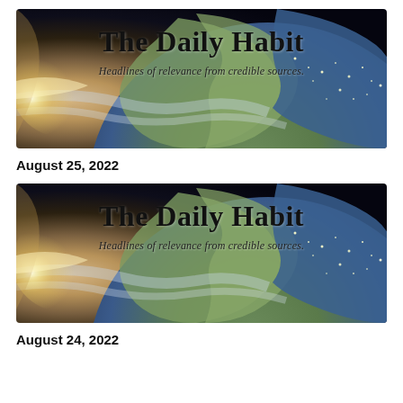[Figure (illustration): The Daily Habit newsletter banner showing Earth from space with North America visible, sun glare on the left. Title reads 'The Daily Habit' with subtitle 'Headlines of relevance from credible sources.']
August 25, 2022
[Figure (illustration): The Daily Habit newsletter banner showing Earth from space with North America visible, sun glare on the left. Title reads 'The Daily Habit' with subtitle 'Headlines of relevance from credible sources.']
August 24, 2022